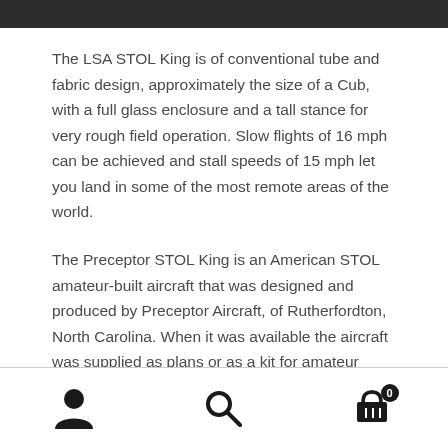The LSA STOL King is of conventional tube and fabric design, approximately the size of a Cub, with a full glass enclosure and a tall stance for very rough field operation. Slow flights of 16 mph can be achieved and stall speeds of 15 mph let you land in some of the most remote areas of the world.
The Preceptor STOL King is an American STOL amateur-built aircraft that was designed and produced by Preceptor Aircraft, of Rutherfordton, North Carolina. When it was available the aircraft was supplied as plans or as a kit for amateur construction.
[Figure (infographic): Bottom navigation bar with three icons: user/person icon on left, search/magnifying glass icon in center, shopping cart icon with badge showing '0' on right]